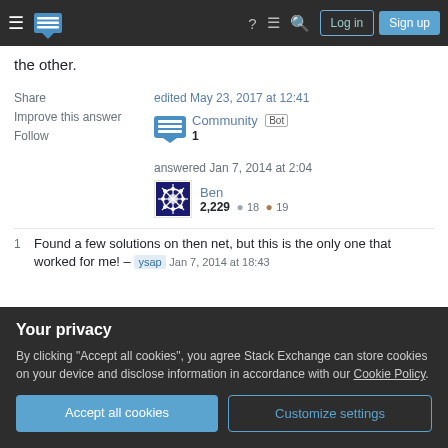Stack Exchange navigation bar with Log in and Sign up buttons
the other.
Share   Improve this answer   Follow
edited May 23, 2017 at 12:41  Community Bot  1
answered Jan 7, 2014 at 2:04  Ben  2,229  ● 18  ● 19
1  Found a few solutions on then net, but this is the only one that worked for me! – ysap  Jan 7, 2014 at 18:43
Your privacy
By clicking "Accept all cookies", you agree Stack Exchange can store cookies on your device and disclose information in accordance with our Cookie Policy.
Accept all cookies   Customize settings
patches" line  :version  also gives a very detailed